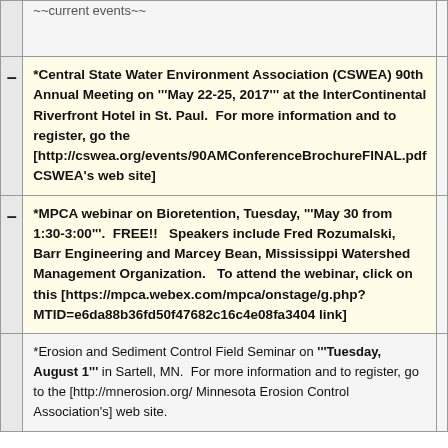~~current events~~
*Central State Water Environment Association (CSWEA) 90th Annual Meeting on '''May 22-25, 2017''' at the InterContinental Riverfront Hotel in St. Paul.  For more information and to register, go the [http://cswea.org/events/90AMConferenceBrochureFINAL.pdf CSWEA's web site]
*MPCA webinar on Bioretention, Tuesday, '''May 30 from 1:30-3:00'''.  FREE!!   Speakers include Fred Rozumalski, Barr Engineering and Marcey Bean, Mississippi Watershed Management Organization.   To attend the webinar, click on this [https://mpca.webex.com/mpca/onstage/g.php?MTID=e6da88b36fd50f47682c16c4e08fa3404 link]
*Erosion and Sediment Control Field Seminar on '''Tuesday, August 1''' in Sartell, MN.  For more information and to register, go to the [http://mnerosion.org/ Minnesota Erosion Control Association's] web site.